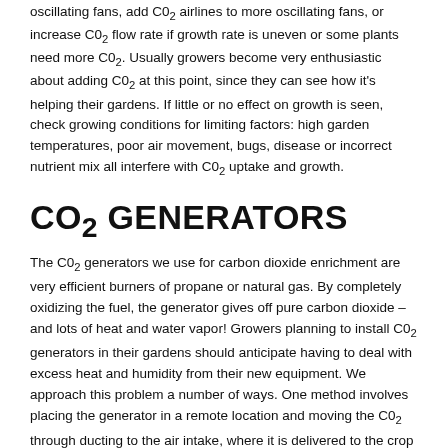oscillating fans, add CO2 airlines to more oscillating fans, or increase CO2 flow rate if growth rate is uneven or some plants need more CO2. Usually growers become very enthusiastic about adding CO2 at this point, since they can see how it's helping their gardens. If little or no effect on growth is seen, check growing conditions for limiting factors: high garden temperatures, poor air movement, bugs, disease or incorrect nutrient mix all interfere with CO2 uptake and growth.
CO2 GENERATORS
The CO2 generators we use for carbon dioxide enrichment are very efficient burners of propane or natural gas. By completely oxidizing the fuel, the generator gives off pure carbon dioxide – and lots of heat and water vapor! Growers planning to install CO2 generators in their gardens should anticipate having to deal with excess heat and humidity from their new equipment. We approach this problem a number of ways. One method involves placing the generator in a remote location and moving the CO2 through ducting to the air intake, where it is delivered to the crop by oscillating fans. A fan